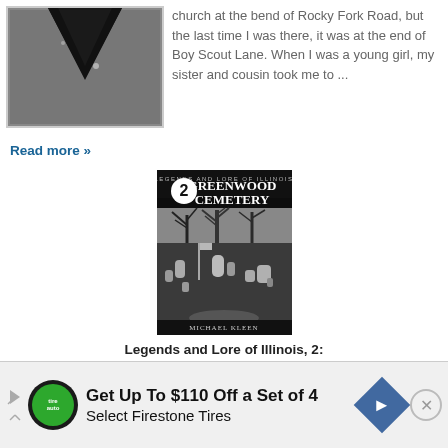[Figure (illustration): Partial image at top left showing a dark gray V-shaped or neckline silhouette on a gray background, with a light gray border frame.]
church at the bend of Rocky Fork Road, but the last time I was there, it was at the end of Boy Scout Lane. When I was a young girl, my sister and cousin took me to ...
Read more »
[Figure (photo): Book cover for 'Legends and Lore of Illinois, 2: Greenwood Cemetery' by Michael Kleen. Black background with white circle showing number 2, title text in white, and a cemetery photo with bare trees and headstones.]
Legends and Lore of Illinois, 2: Greenwood Cemetery
Michael Kleen
[Figure (photo): Partial glimpse of another book cover at the bottom with red/orange fiery background.]
Get Up To $110 Off a Set of 4 Select Firestone Tires